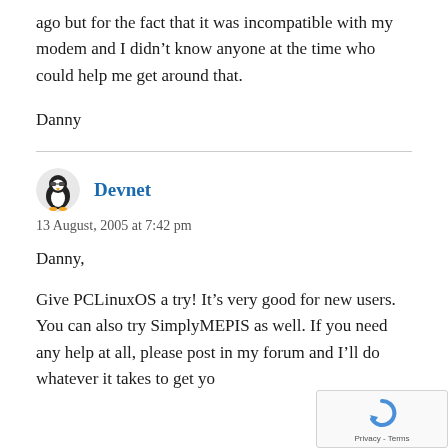ago but for the fact that it was incompatible with my modem and I didn't know anyone at the time who could help me get around that.
Danny
Devnet
13 August, 2005 at 7:42 pm
Danny,
Give PCLinuxOS a try! It's very good for new users. You can also try SimplyMEPIS as well. If you need any help at all, please post in my forum and I'll do whatever it takes to get yo...